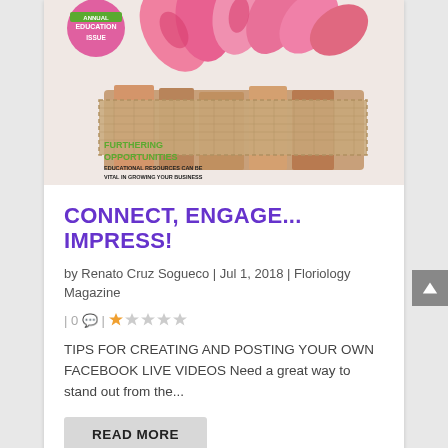[Figure (photo): Magazine cover showing pink flowers on top of burlap-wrapped books, with a pink circle badge reading 'Annual Education Issue' in green/white, and green 'FURTHERING OPPORTUNITIES' text overlay at bottom left with subtitle 'EDUCATIONAL RESOURCES CAN BE VITAL IN GROWING YOUR BUSINESS']
CONNECT, ENGAGE... IMPRESS!
by Renato Cruz Sogueco | Jul 1, 2018 | Floriology Magazine | 0 💬 | ★☆☆☆☆
TIPS FOR CREATING AND POSTING YOUR OWN FACEBOOK LIVE VIDEOS Need a great way to stand out from the...
READ MORE